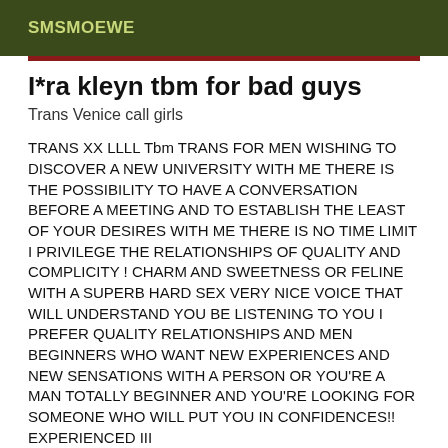SMSMOEWE
I*ra kleyn tbm for bad guys
Trans Venice call girls
TRANS XX LLLL Tbm TRANS FOR MEN WISHING TO DISCOVER A NEW UNIVERSITY WITH ME THERE IS THE POSSIBILITY TO HAVE A CONVERSATION BEFORE A MEETING AND TO ESTABLISH THE LEAST OF YOUR DESIRES WITH ME THERE IS NO TIME LIMIT I PRIVILEGE THE RELATIONSHIPS OF QUALITY AND COMPLICITY ! CHARM AND SWEETNESS OR FELINE WITH A SUPERB HARD SEX VERY NICE VOICE THAT WILL UNDERSTAND YOU BE LISTENING TO YOU I PREFER QUALITY RELATIONSHIPS AND MEN BEGINNERS WHO WANT NEW EXPERIENCES AND NEW SENSATIONS WITH A PERSON OR YOU'RE A MAN TOTALLY BEGINNER AND YOU'RE LOOKING FOR SOMEONE WHO WILL PUT YOU IN CONFIDENCES!! EXPERIENCED III